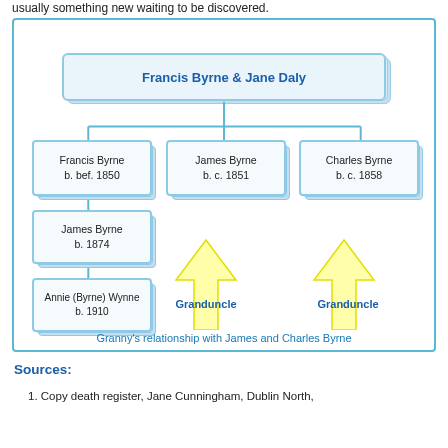usually something new waiting to be discovered.
[Figure (organizational-chart): Family tree diagram showing Francis Byrne & Jane Daly at the root, with children Francis Byrne (b. bef. 1850), James Byrne (b. c. 1851), and Charles Byrne (b. c. 1858). Under Francis Byrne: James Byrne (b. 1874), then Annie (Byrne) Wynne (b. 1910). Yellow arrows labeled 'Granduncle' point upward from Annie's line to James Byrne and Charles Byrne.]
Granny's relationship with James and Charles Byrne
Sources:
1. Copy death register, Jane Cunningham, Dublin North,